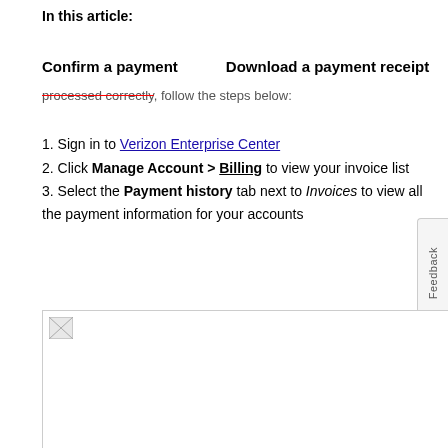In this article:
Confirm a payment    Download a payment receipt    Download a p
processed correctly, follow the steps below:
1. Sign in to Verizon Enterprise Center
2. Click Manage Account > Billing to view your invoice list
3. Select the Payment history tab next to Invoices to view all the payment information for your accounts
[Figure (screenshot): Screenshot of Verizon Enterprise Center payment history interface]